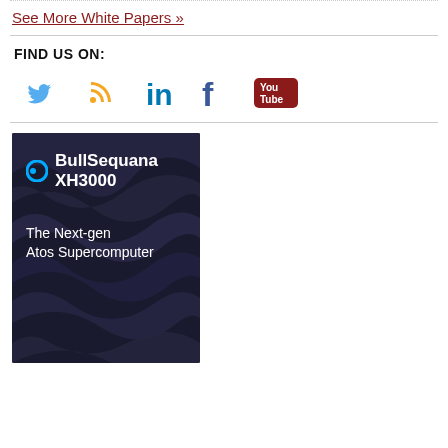See More White Papers »
FIND US ON:
[Figure (infographic): Social media icons: Twitter (blue bird), RSS (orange feed), LinkedIn (blue 'in'), Facebook (blue 'f'), YouTube (brown YouTube logo)]
[Figure (illustration): BullSequana XH3000 - The Next-gen Atos Supercomputer advertisement with dark wavy background pattern and white text with blue logo icon]